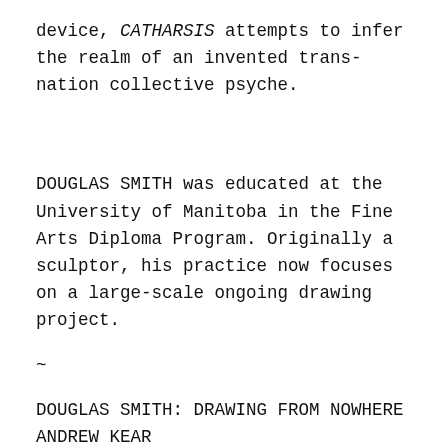device, CATHARSIS attempts to infer the realm of an invented trans-nation collective psyche.
DOUGLAS SMITH was educated at the University of Manitoba in the Fine Arts Diploma Program. Originally a sculptor, his practice now focuses on a large-scale ongoing drawing project.
~
DOUGLAS SMITH: DRAWING FROM NOWHERE
ANDREW KEAR
Doug Smith gives the impression of drawing from distant heights. Like a Patinir or Bruegel for the age of